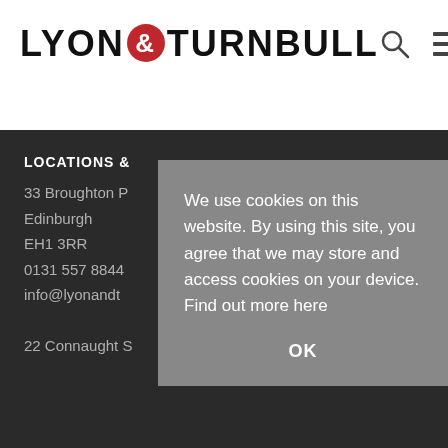LYON & TURNBULL
LOCATIONS &
33 Broughton P
Edinburgh
EH1 3RR
0131 557 8844
info@lyonandt

22 Connaught S
We use cookies on this website. By using this site, you agree that we may store and access cookies on your device. Find out more here
OK